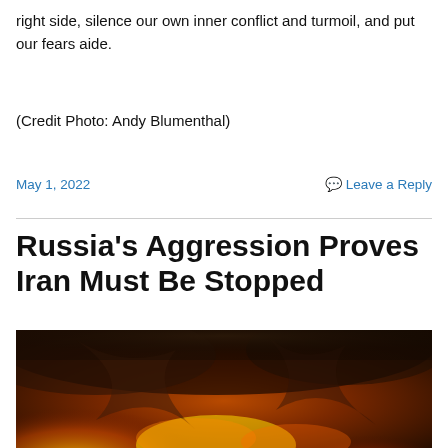right side, silence our own inner conflict and turmoil, and put our fears aide.
(Credit Photo: Andy Blumenthal)
May 1, 2022
Leave a Reply
Russia's Aggression Proves Iran Must Be Stopped
[Figure (photo): Dramatic fire and explosion image with dark smoke and orange flames swirling, used as header image for the article about Russia and Iran.]